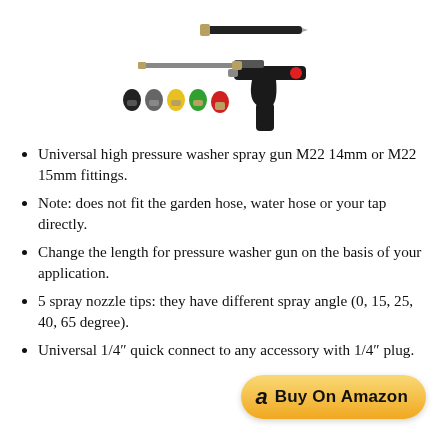[Figure (photo): Product photo of a pressure washer spray gun kit with wand, multiple colored nozzle tips (black, gray, yellow, green, red), a metal extension wand, and a black pistol-grip spray gun with red trigger button.]
Universal high pressure washer spray gun M22 14mm or M22 15mm fittings.
Note: does not fit the garden hose, water hose or your tap directly.
Change the length for pressure washer gun on the basis of your application.
5 spray nozzle tips: they have different spray angle (0, 15, 25, 40, 65 degree).
Universal 1/4″ quick connect to any accessory with 1/4″ plug.
Buy On Amazon